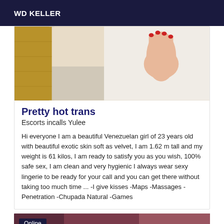WD KELLER
[Figure (photo): Photo showing a hand with red nail polish resting on a white fluffy surface, with a wooden floor visible on the left side]
Pretty hot trans
Escorts incalls Yulee
Hi everyone I am a beautiful Venezuelan girl of 23 years old with beautiful exotic skin soft as velvet, I am 1.62 m tall and my weight is 61 kilos, I am ready to satisfy you as you wish, 100% safe sex, I am clean and very hygienic I always wear sexy lingerie to be ready for your call and you can get there without taking too much time ... -I give kisses -Maps -Massages -Penetration -Chupada Natural -Games
[Figure (photo): Partially visible second listing card with 'Online' badge and dark purple/maroon background]
Online